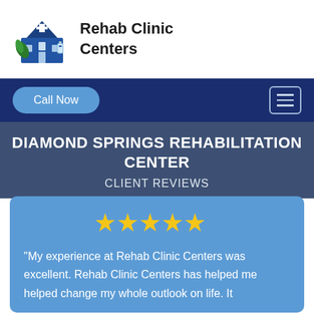[Figure (logo): Rehab Clinic Centers logo: a blue clinic building illustration with medical cross and leaves]
Rehab Clinic Centers
Call Now
DIAMOND SPRINGS REHABILITATION CENTER
CLIENT REVIEWS
[Figure (illustration): Five gold star rating]
"My experience at Rehab Clinic Centers was excellent. Rehab Clinic Centers has helped me helped change my whole outlook on life. It